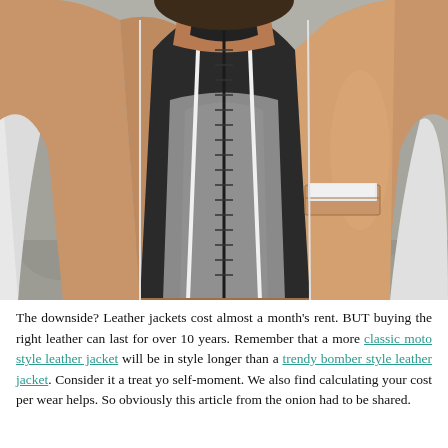[Figure (photo): Close-up photo of a man wearing a tan/camel wool bomber vest with white sleeves (jacket underneath), zipper down the front, breast pocket with white pocket square, and a grey t-shirt underneath. Background is blurred.]
The downside? Leather jackets cost almost a month's rent. BUT buying the right leather can last for over 10 years. Remember that a more classic moto style leather jacket will be in style longer than a trendy bomber style leather jacket. Consider it a treat yo self-moment. We also find calculating your cost per wear helps. So obviously this article from the onion had to be shared.